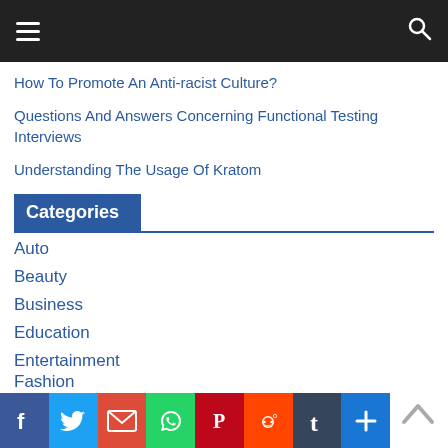Navigation bar with hamburger menu and search icon
How To Promote An Anti-racist Culture?
Questions And Answers Concerning Functional Testing Interviews
Understanding The Usage Of Kratom
Categories
Auto
Beauty
Business
Education
Entertainment
Fashion